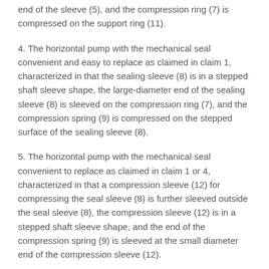end of the sleeve (5), and the compression ring (7) is compressed on the support ring (11).
4. The horizontal pump with the mechanical seal convenient and easy to replace as claimed in claim 1, characterized in that the sealing sleeve (8) is in a stepped shaft sleeve shape, the large-diameter end of the sealing sleeve (8) is sleeved on the compression ring (7), and the compression spring (9) is compressed on the stepped surface of the sealing sleeve (8).
5. The horizontal pump with the mechanical seal convenient to replace as claimed in claim 1 or 4, characterized in that a compression sleeve (12) for compressing the seal sleeve (8) is further sleeved outside the seal sleeve (8), the compression sleeve (12) is in a stepped shaft sleeve shape, and the end of the compression spring (9) is sleeved at the small diameter end of the compression sleeve (12).
6. The horizontal pump with the easily replaceable mechanical seal is characterized in that the inner diameter of the small-diameter end of the compression sleeve (12) is smaller than the